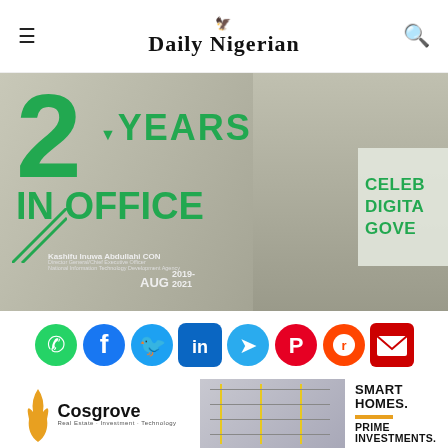Daily Nigerian
[Figure (photo): Hero banner: 2 Years In Office promotional graphic featuring Kashifu Inuwa Abdullahi CON, Director General/Chief Executive Officer, National Information Technology Development Agency. Text reads '2 YEARS IN OFFICE', 'AUG 2019-2021', with partial text 'CELEB DIGITA GOVE' on right side.]
[Figure (infographic): Row of social media sharing icons: WhatsApp (green), Facebook (blue), Twitter (blue), LinkedIn (blue), Telegram (blue), Pinterest (red), Reddit (orange), Email (red)]
[Figure (photo): Advertisement banner for Cosgrove Real Estate, Investment, Technology showing smart homes building photo with text 'SMART HOMES. PRIME INVESTMENTS.']